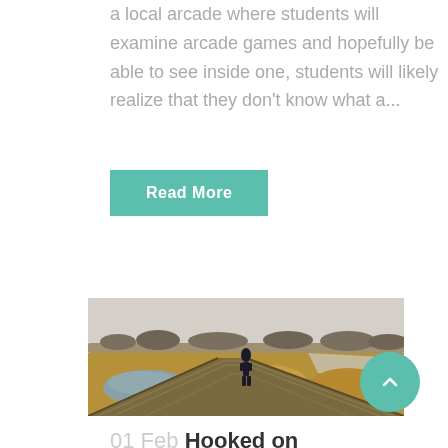a local arcade where students will examine arcade games and hopefully be able to see inside one, students will likely realize that they don't know what a...
Read More
[Figure (photo): A person standing on large industrial pipes in a wetland landscape with overcast sky and dry grasses in the background.]
01 Feb Hooked on